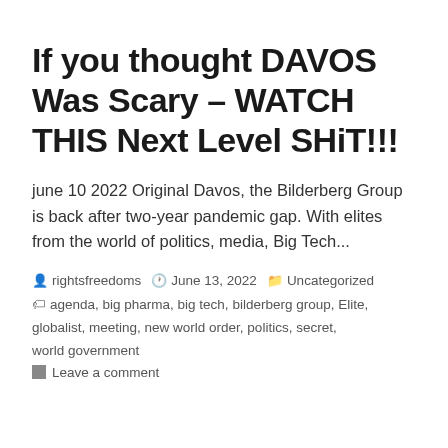If you thought DAVOS Was Scary – WATCH THIS Next Level SHiT!!!
june 10 2022 Original Davos, the Bilderberg Group is back after two-year pandemic gap. With elites from the world of politics, media, Big Tech...
rightsfreedoms   June 13, 2022   Uncategorized
agenda, big pharma, big tech, bilderberg group, Elite, globalist, meeting, new world order, politics, secret, world government
Leave a comment